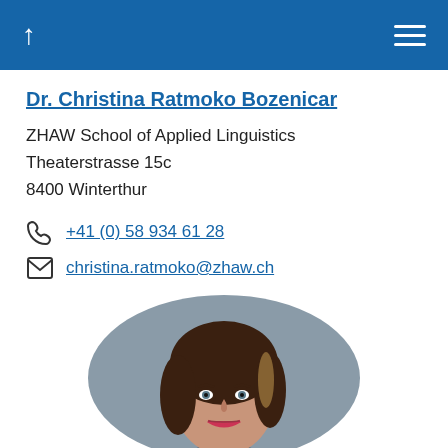Dr. Christina Ratmoko Bozenicar
ZHAW School of Applied Linguistics
Theaterstrasse 15c
8400 Winterthur
+41 (0) 58 934 61 28
christina.ratmoko@zhaw.ch
[Figure (photo): Circular profile photo of Dr. Christina Ratmoko Bozenicar, a woman with brown hair, smiling, against a grey background]